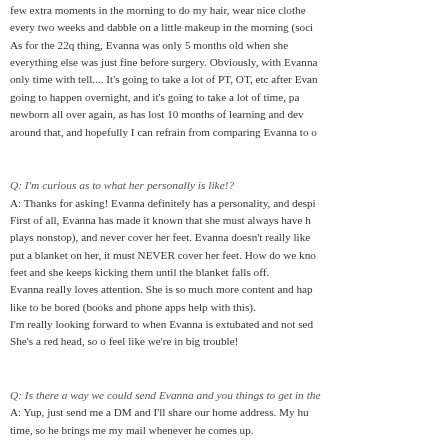few extra moments in the morning to do my hair, wear nice clothes every two weeks and dabble on a little makeup in the morning (soci As for the 22q thing, Evanna was only 5 months old when she everything else was just fine before surgery. Obviously, with Evanna only time with tell.... It's going to take a lot of PT, OT, etc after Evan going to happen overnight, and it's going to take a lot of time, pa newborn all over again, as has lost 10 months of learning and dev around that, and hopefully I can refrain from comparing Evanna to o
Q: I'm curious as to what her personally is like!?
A: Thanks for asking! Evanna definitely has a personality, and despi First of all, Evanna has made it known that she must always have h plays nonstop), and never cover her feet. Evanna doesn't really like put a blanket on her, it must NEVER cover her feet. How do we kno feet and she keeps kicking them until the blanket falls off.
Evanna really loves attention. She is so much more content and hap like to be bored (books and phone apps help with this).
I'm really looking forward to when Evanna is extubated and not sed She's a red head, so o feel like we're in big trouble!
Q: Is there a way we could send Evanna and you things to get in the A: Yup, just send me a DM and I'll share our home address. My hu time, so he brings me my mail whenever he comes up.